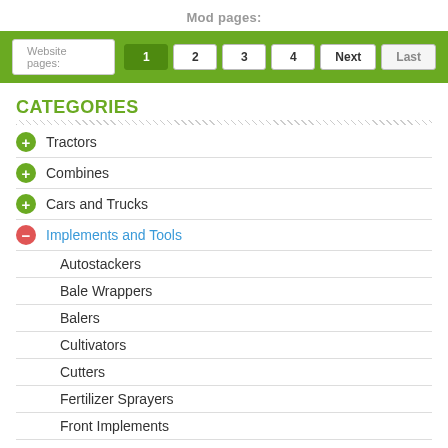Mod pages:
[Figure (screenshot): Navigation bar with page buttons: Website pages: label, then buttons 1 (active), 2, 3, 4, Next, Last on green background]
CATEGORIES
Tractors
Combines
Cars and Trucks
Implements and Tools
Autostackers
Bale Wrappers
Balers
Cultivators
Cutters
Fertilizer Sprayers
Front Implements